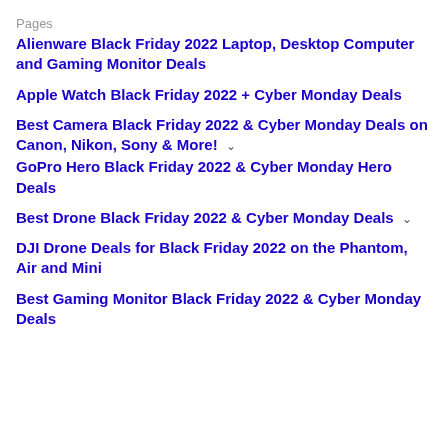Pages
Alienware Black Friday 2022 Laptop, Desktop Computer and Gaming Monitor Deals
Apple Watch Black Friday 2022 + Cyber Monday Deals
Best Camera Black Friday 2022 & Cyber Monday Deals on Canon, Nikon, Sony & More!
GoPro Hero Black Friday 2022 & Cyber Monday Hero Deals
Best Drone Black Friday 2022 & Cyber Monday Deals
DJI Drone Deals for Black Friday 2022 on the Phantom, Air and Mini
Best Gaming Monitor Black Friday 2022 & Cyber Monday Deals